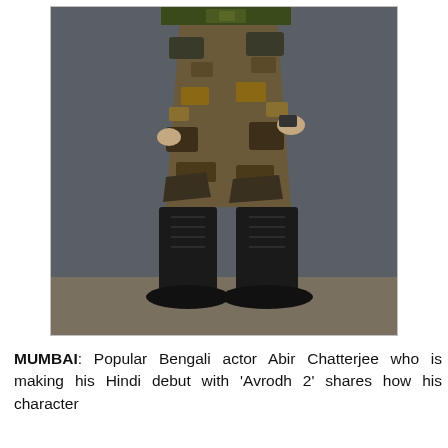[Figure (photo): A person wearing Indian Army camouflage military uniform with green belt and black combat boots, photographed from torso down against a dark grey background.]
MUMBAI: Popular Bengali actor Abir Chatterjee who is making his Hindi debut with 'Avrodh 2' shares how his character